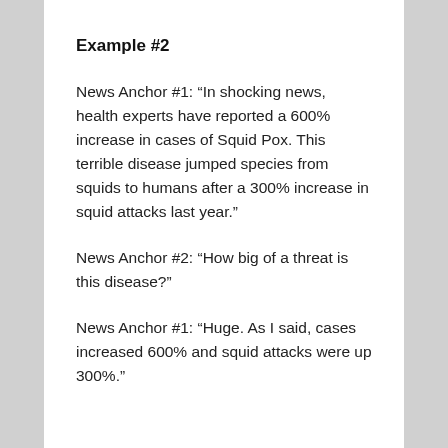Example #2
News Anchor #1: “In shocking news, health experts have reported a 600% increase in cases of Squid Pox. This terrible disease jumped species from squids to humans after a 300% increase in squid attacks last year.”
News Anchor #2: “How big of a threat is this disease?”
News Anchor #1: “Huge. As I said, cases increased 600% and squid attacks were up 300%.”